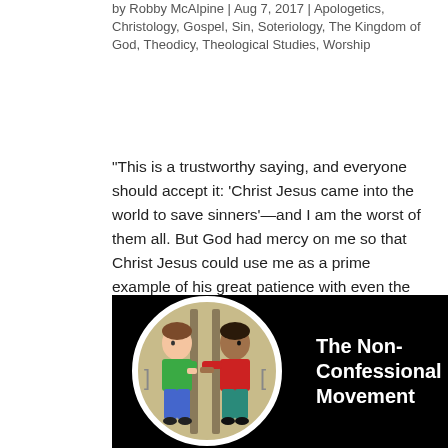by Robby McAlpine | Aug 7, 2017 | Apologetics, Christology, Gospel, Sin, Soteriology, The Kingdom of God, Theodicy, Theological Studies, Worship
“This is a trustworthy saying, and everyone should accept it: ‘Christ Jesus came into the world to save sinners’—and I am the worst of them all. But God had mercy on me so that Christ Jesus could use me as a prime example of his great patience with even the worst…
[Figure (illustration): Black background image showing two cartoon boys facing each other through jail/locker bars inside a circular frame. Text on the right reads 'The Non-Confessional Movement' in white bold font.]